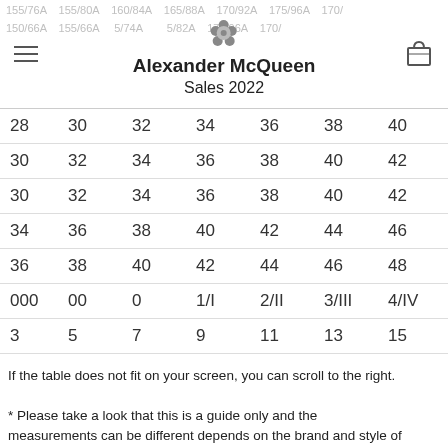Alexander McQueen Sales 2022
| 28 | 30 | 32 | 34 | 36 | 38 | 40 |
| 30 | 32 | 34 | 36 | 38 | 40 | 42 |
| 30 | 32 | 34 | 36 | 38 | 40 | 42 |
| 34 | 36 | 38 | 40 | 42 | 44 | 46 |
| 36 | 38 | 40 | 42 | 44 | 46 | 48 |
| 000 | 00 | 0 | 1/I | 2/II | 3/III | 4/IV |
| 3 | 5 | 7 | 9 | 11 | 13 | 15 |
| 44 | 44 | 55 | 55 | 66 | 66 | 77 |
If the table does not fit on your screen, you can scroll to the right.
* Please take a look that this is a guide only and the measurements can be different depends on the brand and style of